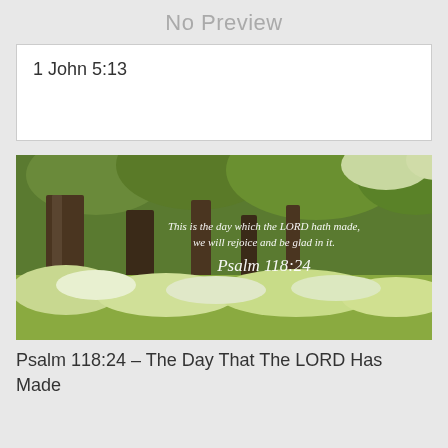No Preview
1 John 5:13
[Figure (photo): Nature scene with tall trees and white wildflowers in a green meadow. Overlaid white italic script text reads: 'This is the day which the LORD hath made, we will rejoice and be glad in it. Psalm 118:24']
Psalm 118:24 – The Day That The LORD Has Made